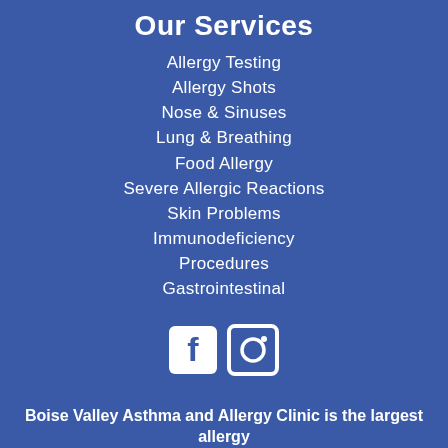Our Services
Allergy Testing
Allergy Shots
Nose & Sinuses
Lung & Breathing
Food Allergy
Severe Allergic Reactions
Skin Problems
Immunodeficiency
Procedures
Gastrointestinal
[Figure (illustration): Facebook and Instagram social media icons in white]
Boise Valley Asthma and Allergy Clinic is the largest allergy